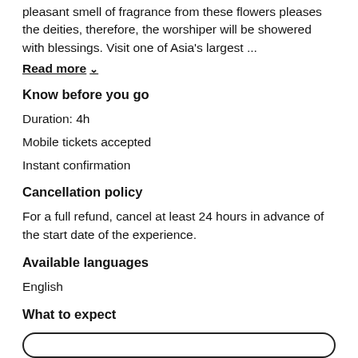pleasant smell of fragrance from these flowers pleases the deities, therefore, the worshiper will be showered with blessings. Visit one of Asia's largest ...
Read more ˅
Know before you go
Duration: 4h
Mobile tickets accepted
Instant confirmation
Cancellation policy
For a full refund, cancel at least 24 hours in advance of the start date of the experience.
Available languages
English
What to expect
[Figure (other): Rounded rectangle button outline at the bottom of the page]